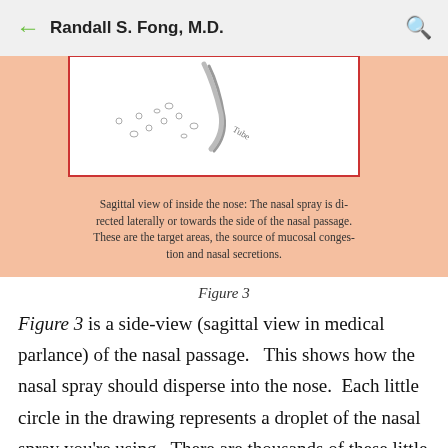Randall S. Fong, M.D.
[Figure (illustration): Sagittal view illustration of the inside of the nose showing a nasal spray being directed laterally with a curved nozzle and droplets dispersing into the nasal passage]
Sagittal view of inside the nose: The nasal spray is directed laterally or towards the side of the nasal passage. These are the target areas, the source of mucosal congestion and nasal secretions.
Figure 3
Figure 3 is a side-view (sagittal view in medical parlance) of the nasal passage.   This shows how the nasal spray should disperse into the nose.  Each little circle in the drawing represents a droplet of the nasal spray you're using.  There are thousands of these little droplets entering your